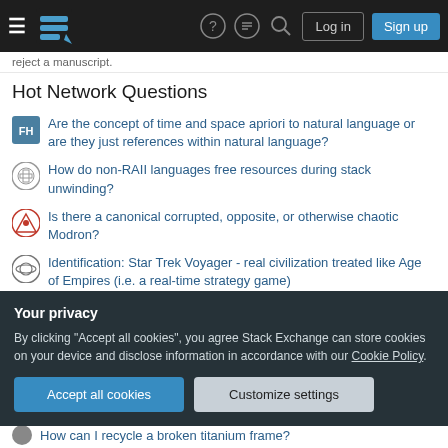Navigation bar with hamburger menu, Stack Exchange logo, help icon, chat icon, search icon, Log in and Sign up buttons
reject a manuscript.
Hot Network Questions
Are the concept of time and space apriori to natural language or are they just references within natural language?
How do non-RAII languages free resources during stack unwinding?
Is there a canonical corrupted, opposite, or otherwise chaotic Modron?
Identification: Star Trek Voyager - real civilization treated like Age of Empires (i.e. a real-time strategy game)
If saying 'Why can't I ...?' is correct, would 'Why cannot I ...?' be technically correct?
Is there a phrase or expression that means "riding a horse with
Your privacy
By clicking "Accept all cookies", you agree Stack Exchange can store cookies on your device and disclose information in accordance with our Cookie Policy.
How can I recycle a broken titanium frame?